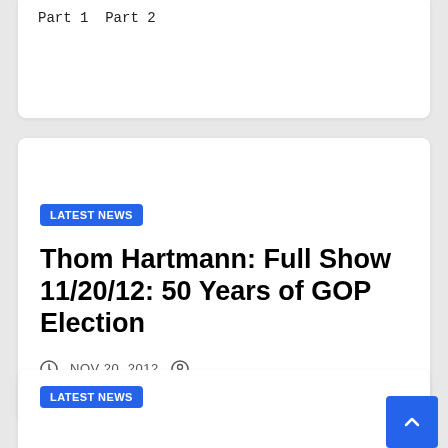Part 1  Part 2
LATEST NEWS
Thom Hartmann: Full Show 11/20/12: 50 Years of GOP Election
NOV 20, 2012
LATEST NEWS